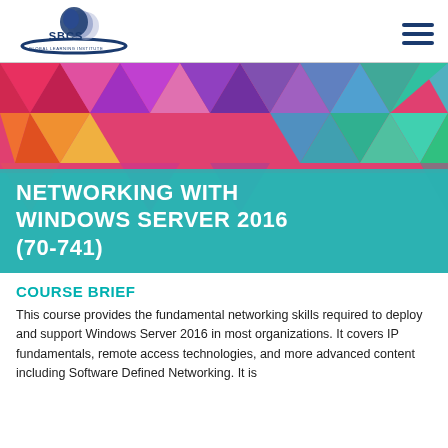[Figure (logo): SBCS Global Learning Institute logo with stylized head silhouette and arc]
[Figure (illustration): Hamburger menu icon with three horizontal lines]
[Figure (illustration): Colorful geometric triangles banner background (red, pink, purple, teal, green, yellow, orange)]
NETWORKING WITH WINDOWS SERVER 2016 (70-741)
COURSE BRIEF
This course provides the fundamental networking skills required to deploy and support Windows Server 2016 in most organizations. It covers IP fundamentals, remote access technologies, and more advanced content including Software Defined Networking. It is